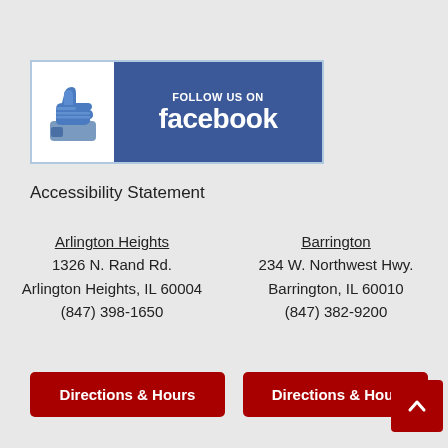[Figure (logo): Follow us on Facebook banner with thumbs-up icon and blue Facebook branding]
Accessibility Statement
Arlington Heights
1326 N. Rand Rd.
Arlington Heights, IL 60004
(847) 398-1650
Barrington
234 W. Northwest Hwy.
Barrington, IL 60010
(847) 382-9200
Directions & Hours
Directions & Hour